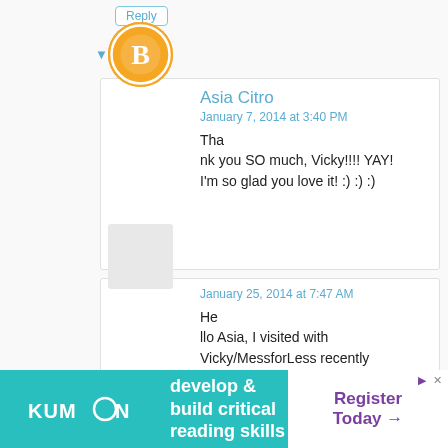Reply
▾ Replies
Asia Citro
January 7, 2014 at 3:40 PM
Thank you SO much, Vicky!!!! YAY! I'm so glad you love it! :) :) :)
January 25, 2014 at 7:47 AM
Hello Asia, I visited with Vicky/MessforLess recently and when I lamented about not knowing what to do for my daughters class this year for
[Figure (infographic): Kumon advertisement banner: teal background with white Kumon logo on left, 'develop & build critical reading skills' text in center, 'Register Today →' in purple on white on right]